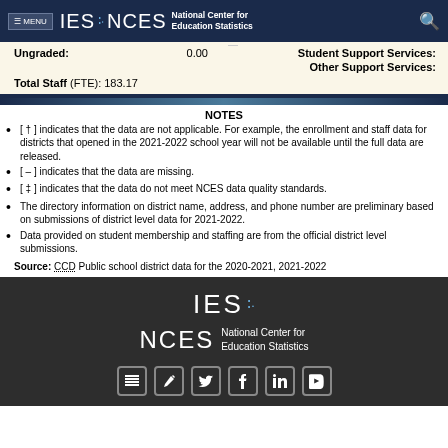MENU IES NCES National Center for Education Statistics
| Ungraded: | 0.00 | Student Support Services: |  |
|  |  | Other Support Services: |  |
| Total Staff (FTE): 183.17 |  |  |  |
NOTES
[ † ] indicates that the data are not applicable. For example, the enrollment and staff data for districts that opened in the 2021-2022 school year will not be available until the full data are released.
[ – ] indicates that the data are missing.
[ ‡ ] indicates that the data do not meet NCES data quality standards.
The directory information on district name, address, and phone number are preliminary based on submissions of district level data for 2021-2022.
Data provided on student membership and staffing are from the official district level submissions.
Source: CCD Public school district data for the 2020-2021, 2021-2022
[Figure (logo): IES NCES National Center for Education Statistics footer logo with social media icons]